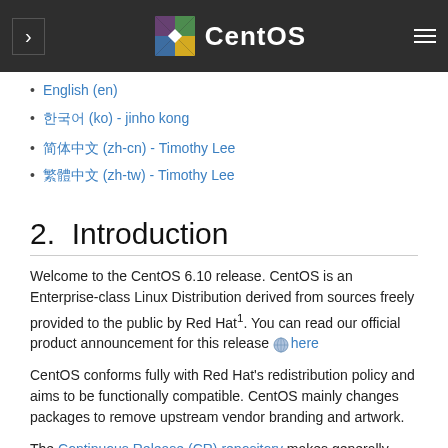CentOS
English (en)
한국어 (ko) - jinho kong
简体中文 (zh-cn) - Timothy Lee
繁體中文 (zh-tw) - Timothy Lee
2.  Introduction
Welcome to the CentOS 6.10 release. CentOS is an Enterprise-class Linux Distribution derived from sources freely provided to the public by Red Hat1. You can read our official product announcement for this release  here
CentOS conforms fully with Red Hat's redistribution policy and aims to be functionally compatible. CentOS mainly changes packages to remove upstream vendor branding and artwork.
The Continuous Release (CR) repository makes generally available